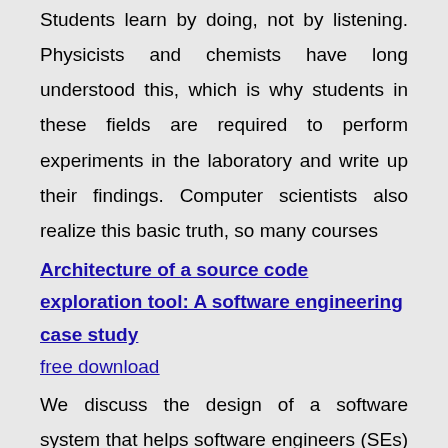Students learn by doing, not by listening. Physicists and chemists have long understood this, which is why students in these fields are required to perform experiments in the laboratory and write up their findings. Computer scientists also realize this basic truth, so many courses
Architecture of a source code exploration tool: A software engineering case study
free download
We discuss the design of a software system that helps software engineers (SEs) to perform the task we call just in time comprehension (JITC) of large bodies of source code . We discuss the requirements for such a system and